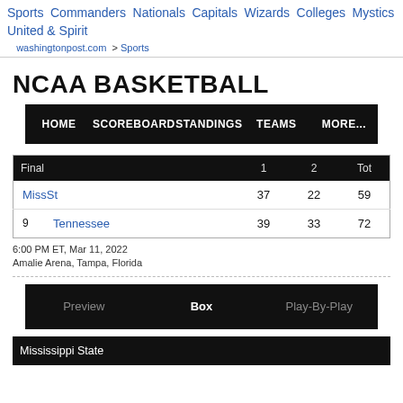Sports Commanders Nationals Capitals Wizards Colleges Mystics United & Spirit
washingtonpost.com > Sports
NCAA BASKETBALL
|  | HOME | SCOREBOARD | STANDINGS | TEAMS | MORE... |
| --- | --- | --- | --- | --- | --- |
| Final |  | 1 | 2 | Tot |
| --- | --- | --- | --- | --- |
|  | MissSt | 37 | 22 | 59 |
| 9 | Tennessee | 39 | 33 | 72 |
6:00 PM ET, Mar 11, 2022
Amalie Arena, Tampa, Florida
| Preview | Box | Play-By-Play |
| --- | --- | --- |
Mississippi State